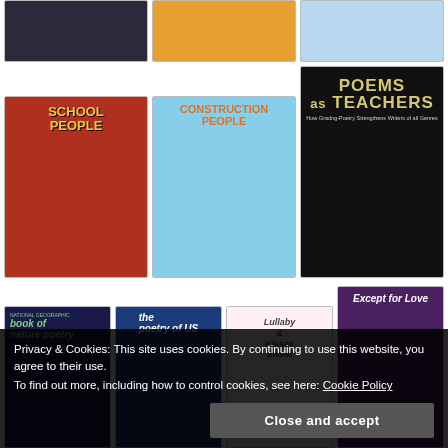[Figure (photo): Row of three book covers partially visible at top: dark illustrated cover, colorful illustrated cover, light blue illustrated cover]
[Figure (photo): Row of three book covers: School People (red cover), Construction People (blue sky cover), Poems as Teachers (black cover with gold text)]
[Figure (photo): Row of four book covers: Book of Nature Poetry (dark night sky), The Poetry of US (American flag), Lullaby & Kisses Sweet (pink/colorful), Except for Love (purple/mountain)]
Privacy & Cookies: This site uses cookies. By continuing to use this website, you agree to their use.
To find out more, including how to control cookies, see here: Cookie Policy
Close and accept